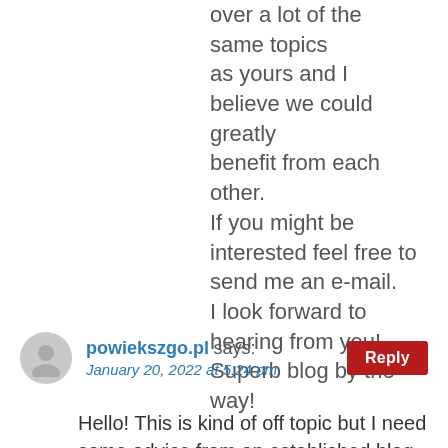a blog post of his. Ha ha! My site goes over a lot of the same topics as yours and I believe we could greatly benefit from each other. If you might be interested feel free to send me an e-mail. I look forward to hearing from you! Superb blog by the way!
powiekszgo.pl says: January 20, 2022 at 5:24 pm
Hello! This is kind of off topic but I need some advice from an established blog.

Is it hard to set up your own blog? I'm not very techincal but I can figure things out pretty quick.
I'm thinking about setting up my own but I'm not sure where to start.
Do you have any tips or suggestions?
Many thanks